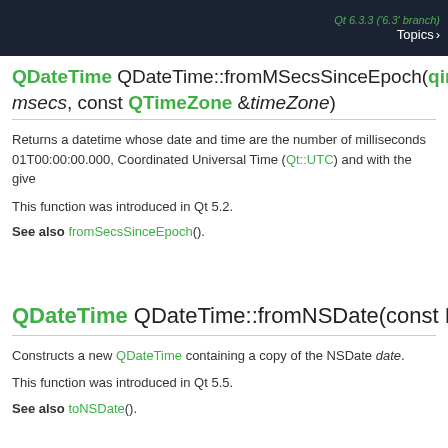Qt 6.3.3 ('6.3' branch)  Topics
QDateTime QDateTime::fromMSecsSinceEpoch(qint64 msecs, const QTimeZone &timeZone)
Returns a datetime whose date and time are the number of milliseconds 01T00:00:00.000, Coordinated Universal Time (Qt::UTC) and with the give
This function was introduced in Qt 5.2.
See also fromSecsSinceEpoch().
QDateTime QDateTime::fromNSDate(const NSDate
Constructs a new QDateTime containing a copy of the NSDate date.
This function was introduced in Qt 5.5.
See also toNSDate().
QDateTime QDateTime::fromSecsSinceEpoch(qint